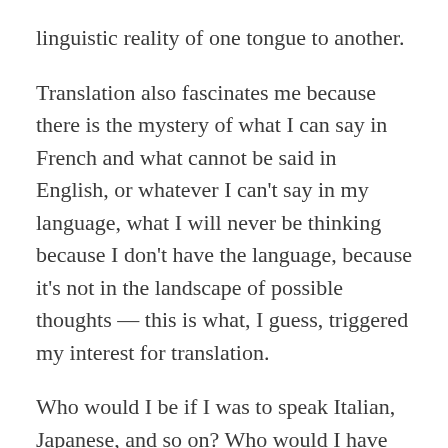linguistic reality of one tongue to another.
Translation also fascinates me because there is the mystery of what I can say in French and what cannot be said in English, or whatever I can't say in my language, what I will never be thinking because I don't have the language, because it's not in the landscape of possible thoughts — this is what, I guess, triggered my interest for translation.
Who would I be if I was to speak Italian, Japanese, and so on? Who would I have been? Who will I become if I learn Chinese or Arabic? It still fascinates me.